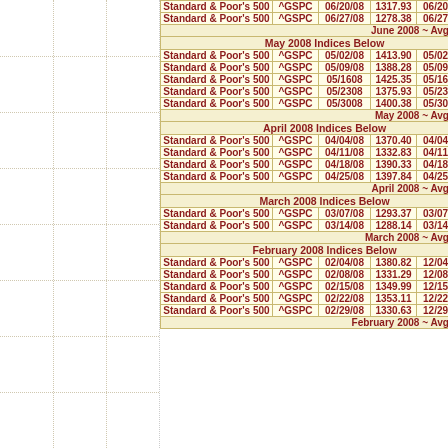| Index Name | Symbol | Date1 | Value | Date2 |
| --- | --- | --- | --- | --- |
| Standard & Poor's 500 | ^GSPC | 06/20/08 | 1317.93 | 06/20/09 |
| Standard & Poor's 500 | ^GSPC | 06/27/08 | 1278.38 | 06/27/09 |
| June 2008 ~ Avg. Annual |  |  |  |  |
| May 2008 Indices Below |  |  |  |  |
| Standard & Poor's 500 | ^GSPC | 05/02/08 | 1413.90 | 05/02/09 |
| Standard & Poor's 500 | ^GSPC | 05/09/08 | 1388.28 | 05/09/09 |
| Standard & Poor's 500 | ^GSPC | 05/1608 | 1425.35 | 05/16/09 |
| Standard & Poor's 500 | ^GSPC | 05/2308 | 1375.93 | 05/23/09 |
| Standard & Poor's 500 | ^GSPC | 05/3008 | 1400.38 | 05/30/09 |
| May 2008 ~ Avg. Annual |  |  |  |  |
| April 2008 Indices Below |  |  |  |  |
| Standard & Poor's 500 | ^GSPC | 04/04/08 | 1370.40 | 04/04/09 |
| Standard & Poor's 500 | ^GSPC | 04/11/08 | 1332.83 | 04/11/09 |
| Standard & Poor's 500 | ^GSPC | 04/18/08 | 1390.33 | 04/18/09 |
| Standard & Poor's 500 | ^GSPC | 04/25/08 | 1397.84 | 04/25/09 |
| April 2008 ~ Avg. Annual |  |  |  |  |
| March 2008 Indices Below |  |  |  |  |
| Standard & Poor's 500 | ^GSPC | 03/07/08 | 1293.37 | 03/07/09 |
| Standard & Poor's 500 | ^GSPC | 03/14/08 | 1288.14 | 03/14/09 |
| March 2008 ~ Avg. Annual |  |  |  |  |
| February 2008 Indices Below |  |  |  |  |
| Standard & Poor's 500 | ^GSPC | 02/04/08 | 1380.82 | 12/04/08 |
| Standard & Poor's 500 | ^GSPC | 02/08/08 | 1331.29 | 12/08/08 |
| Standard & Poor's 500 | ^GSPC | 02/15/08 | 1349.99 | 12/15/08 |
| Standard & Poor's 500 | ^GSPC | 02/22/08 | 1353.11 | 12/22/08 |
| Standard & Poor's 500 | ^GSPC | 02/29/08 | 1330.63 | 12/29/08 |
| February 2008 ~ Avg. Annual |  |  |  |  |